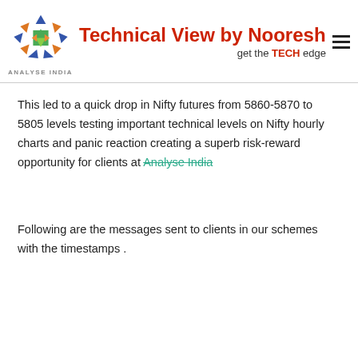[Figure (logo): Analyse India logo with colorful arrow triangles and text 'Technical View by Nooresh, get the TECH edge']
This led to a quick drop in Nifty futures from 5860-5870 to 5805 levels testing important technical levels on Nifty hourly charts and panic reaction creating a superb risk-reward opportunity for clients at Analyse India
Following are the messages sent to clients in our schemes with the timestamps .